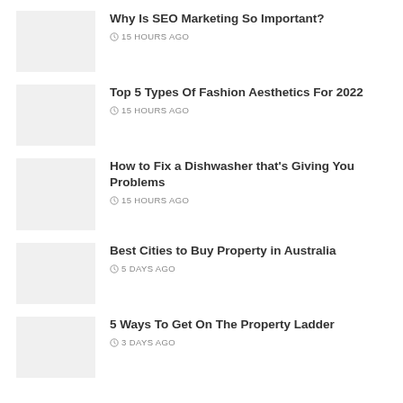Why Is SEO Marketing So Important? — 15 HOURS AGO
Top 5 Types Of Fashion Aesthetics For 2022 — 15 HOURS AGO
How to Fix a Dishwasher that's Giving You Problems — 15 HOURS AGO
Best Cities to Buy Property in Australia — 5 DAYS AGO
5 Ways To Get On The Property Ladder — 3 DAYS AGO